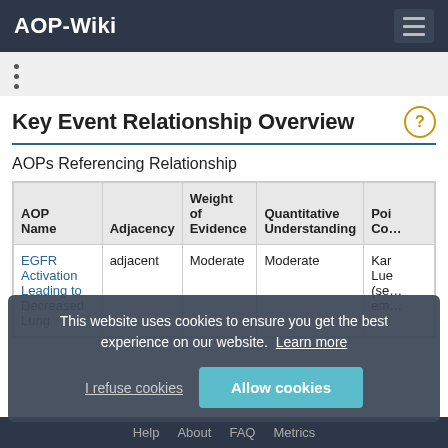AOP-Wiki
•
•
•
Key Event Relationship Overview
AOPs Referencing Relationship
| AOP Name | Adjacency | Weight of Evidence | Quantitative Understanding | Poi Con |
| --- | --- | --- | --- | --- |
| EGFR Activation Leading to Decreased Lung | adjacent | Moderate | Moderate | Kar Lue (se emi |
This website uses cookies to ensure you get the best experience on our website. Learn more
Help   About   FAQ   Metrics